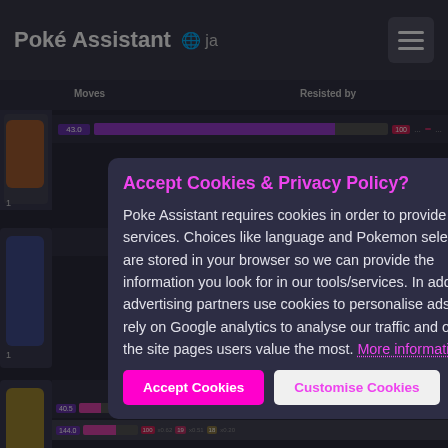Poké Assistant  🌐 ja
[Figure (screenshot): Background Pokémon list/comparison page with dark theme showing moves and 'Resisted by' columns, partially visible Pokémon cards with HP bars]
Accept Cookies & Privacy Policy?
Poke Assistant requires cookies in order to provide its services. Choices like language and Pokemon selections are stored in your browser so we can provide the information you look for in our tools/services. In addition our advertising partners use cookies to personalise ads and we rely on Google analytics to analyse our traffic and optimise the site pages users value the most. More information
Accept Cookies
Customise Cookies